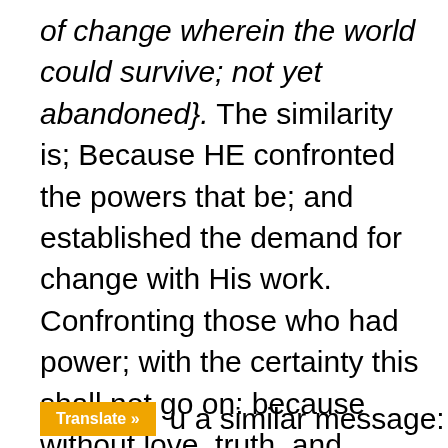of change wherein the world could survive; not yet abandoned}. The similarity is; Because HE confronted the powers that be; and established the demand for change with His work. Confronting those who had power; with the certainty this shall not go on: because without love, truth, and respect; all life dies.
Translate » u a similar message: